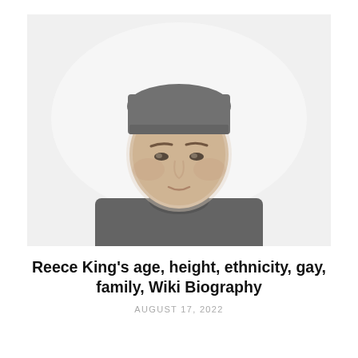[Figure (photo): Portrait photo of Reece King, a young man wearing a dark beanie hat and dark shirt, against a light/white background, looking slightly to the side]
Reece King's age, height, ethnicity, gay, family, Wiki Biography
AUGUST 17, 2022